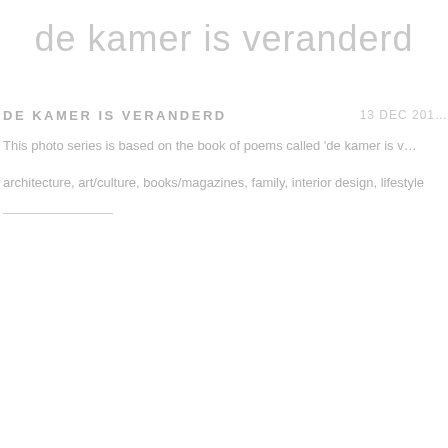de kamer is veranderd
DE KAMER IS VERANDERD
13 DEC 201…
This photo series is based on the book of poems called 'de kamer is v…
architecture,  art/culture,  books/magazines,  family,  interior design,  lifestyle